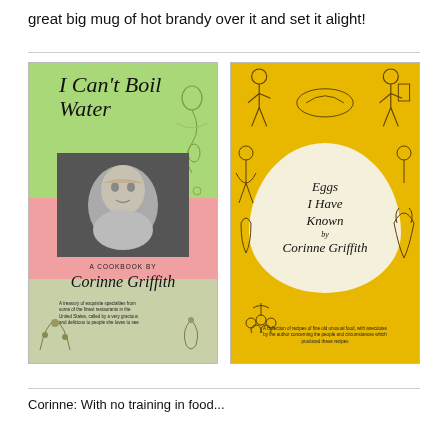great big mug of hot brandy over it and set it alight!
[Figure (photo): Two book covers by Corinne Griffith: left cover is 'I Can't Boil Water: A Cookbook by Corinne Griffith' with green and pink background and a photo of Corinne Griffith; right cover is 'Eggs I Have Known by Corinne Griffith' with a yellow background and egg-shaped title area with illustrated figures around it.]
Corinne: With no training in food...